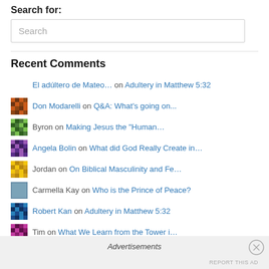Search for:
Search
Recent Comments
El adúltero de Mateo… on Adultery in Matthew 5:32
Don Modarelli on Q&A: What's going on...
Byron on Making Jesus the "Human...
Angela Bolin on What did God Really Create in...
Jordan on On Biblical Masculinity and Fe...
Carmella Kay on Who is the Prince of Peace?
Robert Kan on Adultery in Matthew 5:32
Tim on What We Learn from the Tower i...
Advertisements